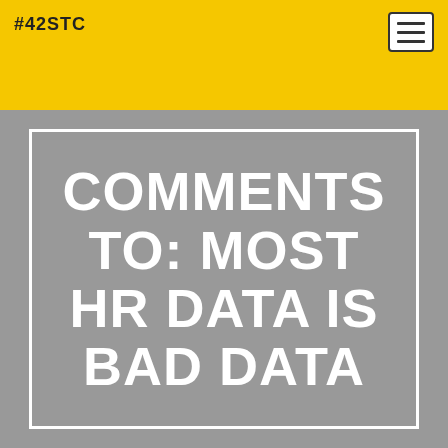#42STC
COMMENTS TO: MOST HR DATA IS BAD DATA